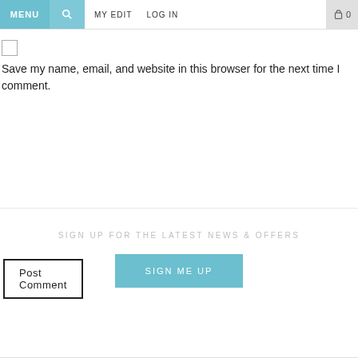MENU | [search] | MY EDIT | LOG IN | [cart] 0
Save my name, email, and website in this browser for the next time I comment.
Post Comment
SIGN UP FOR THE LATEST NEWS & OFFERS
SIGN ME UP